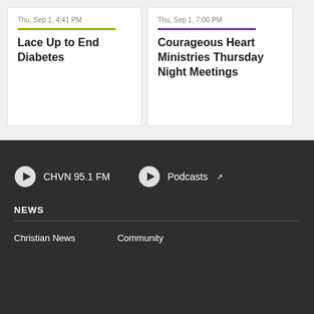Thu, Sep 1, 4:41 PM
Lace Up to End Diabetes
Thu, Sep 1, 7:00 PM
Courageous Heart Ministries Thursday Night Meetings
CHVN 95.1 FM
Podcasts
NEWS
Christian News
Community